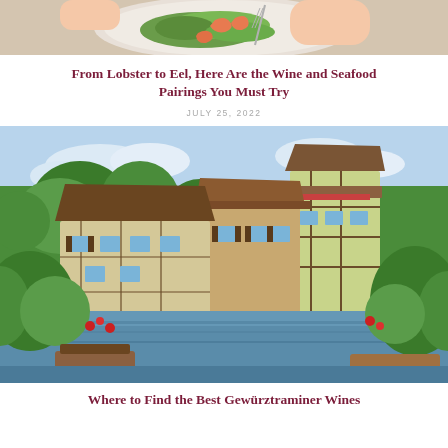[Figure (photo): Top-down view of a plate of shrimp salad being eaten with a fork, hands visible]
From Lobster to Eel, Here Are the Wine and Seafood Pairings You Must Try
JULY 25, 2022
[Figure (photo): Colorful half-timbered houses along a canal in an Alsatian town (Colmar, France), lush greenery]
Where to Find the Best Gewürztraminer Wines